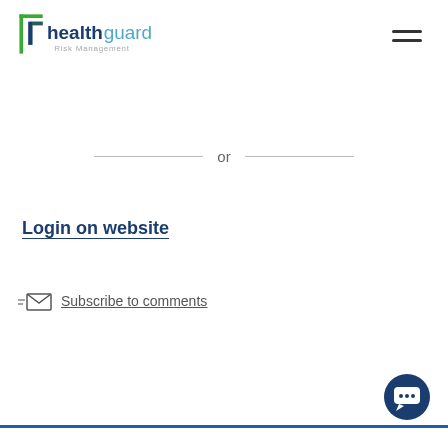[Figure (logo): Healthguard Risk Management logo with green and dark blue bracket/pillar icon and text 'healthguard Risk Management']
[Figure (other): Hamburger menu icon (three horizontal lines)]
or
Login on website
Subscribe to comments
[Figure (other): Dark navy circular chat/message button in bottom right corner]